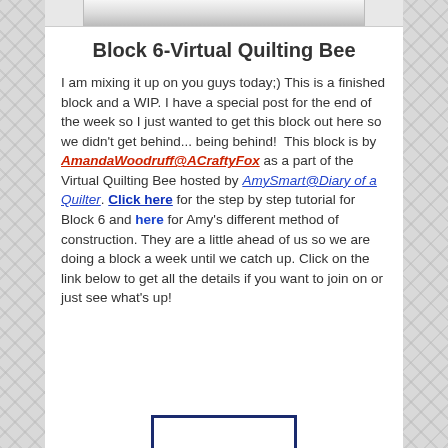[Figure (photo): Partial top image of a quilt block, cropped at top of page]
Block 6-Virtual Quilting Bee
I am mixing it up on you guys today;) This is a finished block and a WIP. I have a special post for the end of the week so I just wanted to get this block out here so we didn't get behind... being behind!  This block is by AmandaWoodruff@ACraftyFox as a part of the Virtual Quilting Bee hosted by AmySmart@Diary of a Quilter. Click here for the step by step tutorial for Block 6 and here for Amy's different method of construction. They are a little ahead of us so we are doing a block a week until we catch up. Click on the link below to get all the details if you want to join on or just see what's up!
[Figure (photo): Partial bottom image of a quilt block with navy border, cropped at bottom of page]